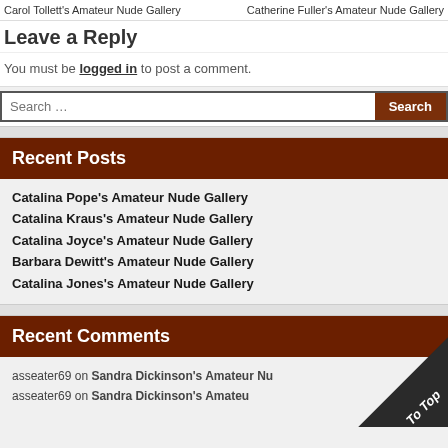Carol Tollett's Amateur Nude Gallery   Catherine Fuller's Amateur Nude Gallery
Leave a Reply
You must be logged in to post a comment.
Recent Posts
Catalina Pope's Amateur Nude Gallery
Catalina Kraus's Amateur Nude Gallery
Catalina Joyce's Amateur Nude Gallery
Barbara Dewitt's Amateur Nude Gallery
Catalina Jones's Amateur Nude Gallery
Recent Comments
asseater69 on Sandra Dickinson's Amateur Nude Gallery
asseater69 on Sandra Dickinson's Amateur...